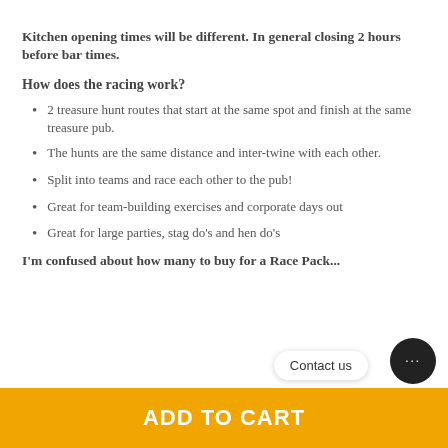Kitchen opening times will be different. In general closing 2 hours before bar times.
How does the racing work?
2 treasure hunt routes that start at the same spot and finish at the same treasure pub.
The hunts are the same distance and inter-twine with each other.
Split into teams and race each other to the pub!
Great for team-building exercises and corporate days out
Great for large parties, stag do's and hen do's
I'm confused about how many to buy for a Race Pack...
ADD TO CART